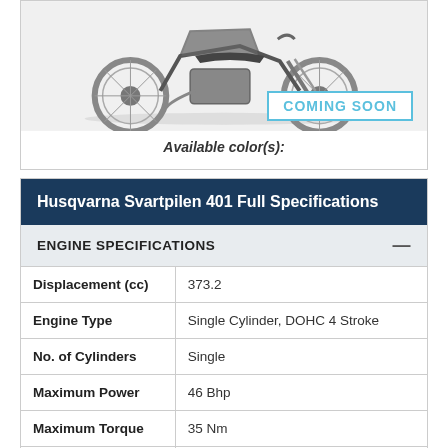[Figure (photo): Husqvarna Svartpilen 401 motorcycle image, partially visible at top of page]
COMING SOON
Available color(s):
Husqvarna Svartpilen 401 Full Specifications
| Specification | Value |
| --- | --- |
| Displacement (cc) | 373.2 |
| Engine Type | Single Cylinder, DOHC 4 Stroke |
| No. of Cylinders | Single |
| Maximum Power | 46 Bhp |
| Maximum Torque | 35 Nm |
| Starter System | Self Start |
| Fuel Delivery | Electronic Fuel Injection |